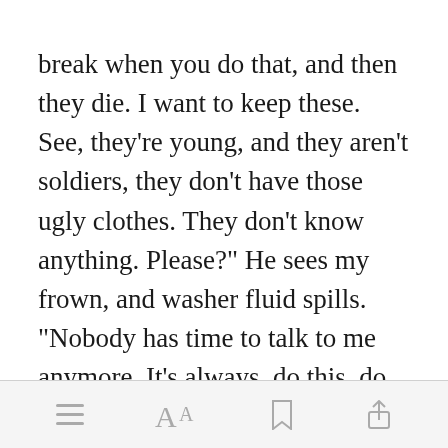break when you do that, and then they die. I want to keep these. See, they're young, and they aren't soldiers, they don't have those ugly clothes. They don't know anything. Please?" He sees my frown, and washer fluid spills. "Nobody has time to talk to me anymore. It's always, do this, do that, I'm too busy to talk, Alpha, I'm too busy to play, Alpha! And th[Open in app]ice, they
[menu icon] [font size icon] [bookmark icon] [share icon]